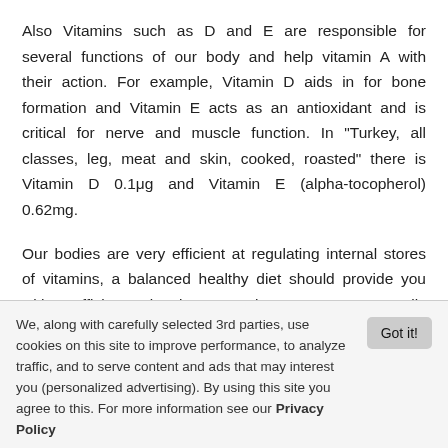Also Vitamins such as D and E are responsible for several functions of our body and help vitamin A with their action. For example, Vitamin D aids in for bone formation and Vitamin E acts as an antioxidant and is critical for nerve and muscle function. In "Turkey, all classes, leg, meat and skin, cooked, roasted" there is Vitamin D 0.1μg and Vitamin E (alpha-tocopherol) 0.62mg.
Our bodies are very efficient at regulating internal stores of vitamins, a balanced healthy diet should provide you with sufficient vitamins. Supplements are generally unnecessary unless you are deficient in a specific vitamin or mineral. Without a diagnosed deficiency you should generally avoid
We, along with carefully selected 3rd parties, use cookies on this site to improve performance, to analyze traffic, and to serve content and ads that may interest you (personalized advertising). By using this site you agree to this. For more information see our Privacy Policy